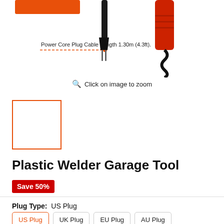[Figure (photo): Product photo of Plastic Welder Garage Tool showing power core plug cable and red handle. Label reads: Power Core Plug Cable Length 1.30m (4.3ft).]
Click on image to zoom
[Figure (photo): Small thumbnail image of the product with orange border indicating selected thumbnail]
Plastic Welder Garage Tool
Save 50%
Plug Type:  US Plug
US Plug | UK Plug | EU Plug | AU Plug
Price  $64.00  $100.00